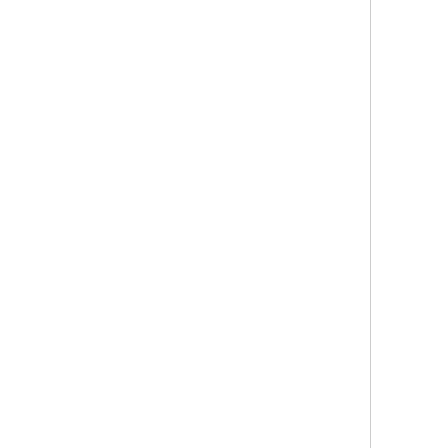picture size in uni signals that the rec sizes than are requi signaled, the receiv conform to the highe
MaxLumaPS value in T replaced with the va knowledge to send la picture rate than is
When not present, th to the value of MaxL highest level.
The value of max-lps MaxLumaPS, inclusive [HEVC] for the highe
max-cpb: